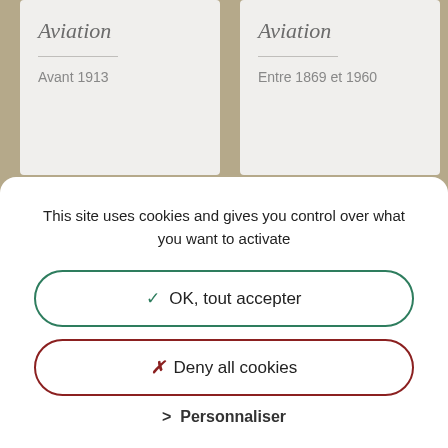[Figure (screenshot): Background grid of cards showing 'Aviation' category with dates, partially obscured by cookie consent overlay]
Aviation
Avant 1913
Aviation
Entre 1869 et 1960
This site uses cookies and gives you control over what you want to activate
✓ OK, tout accepter
✗ Deny all cookies
> Personnaliser